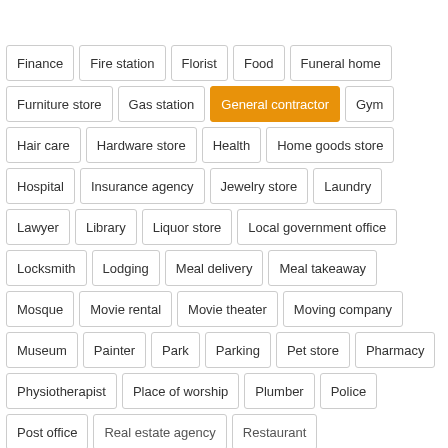Finance, Fire station, Florist, Food, Funeral home, Furniture store, Gas station, General contractor (active), Gym, Hair care, Hardware store, Health, Home goods store, Hospital, Insurance agency, Jewelry store, Laundry, Lawyer, Library, Liquor store, Local government office, Locksmith, Lodging, Meal delivery, Meal takeaway, Mosque, Movie rental, Movie theater, Moving company, Museum, Painter, Park, Parking, Pet store, Pharmacy, Physiotherapist, Place of worship, Plumber, Police, Post office, Real estate agency, Restaurant, Roofing contractor